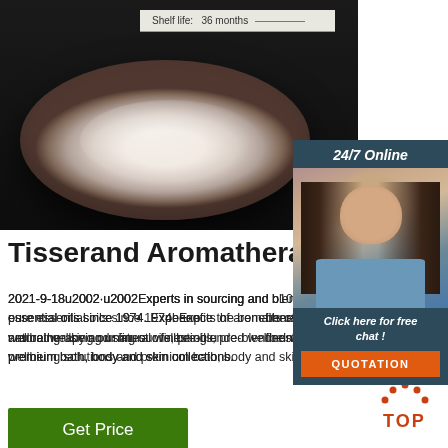[Figure (photo): White powder in a round dish/bowl on a dark background, with a label at top showing 'Shelf life: 36 months']
Shelf life:   36 months
[Figure (photo): 24/7 Online chat widget with a female customer service representative wearing a headset, 'Click here for free chat!' text, and QUOTATION button]
Tisserand Aromatherapy
2021-9-18u2002·u2002Experts in sourcing and blending 100% natural pure essential oils since 1974. Experience the benefits of aromatherapy and natural wellbeing using our finest oils, pre-blended wellbeing solutions and premium bath, body and skin collections.
Get Price